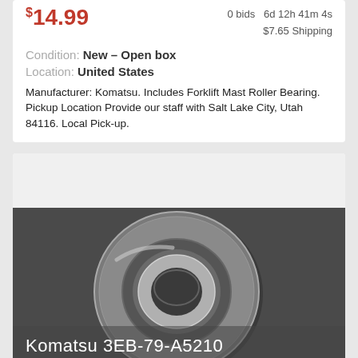$14.99
0 bids   6d 12h 41m 4s
$7.65 Shipping
Condition: New – Open box
Location: United States
Manufacturer: Komatsu. Includes Forklift Mast Roller Bearing. Pickup Location Provide our staff with Salt Lake City, Utah 84116. Local Pick-up.
[Figure (photo): Photo of a Komatsu forklift mast roller bearing (part 3EB-79-A5210), shown on a dark textured surface. The bearing is metallic/chrome colored with a round donut shape showing inner and outer races. Text overlay reads: Komatsu 3EB-79-A5210 Forklift Mast Roller Bearing 39.98mm ID 107.3mm OD]